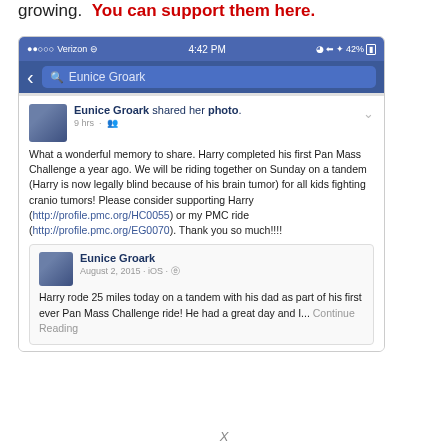growing.  You can support them here.
[Figure (screenshot): Screenshot of a Facebook mobile app showing a post by Eunice Groark about Harry completing his first Pan Mass Challenge, with a shared card showing an older post from August 2, 2015.]
X